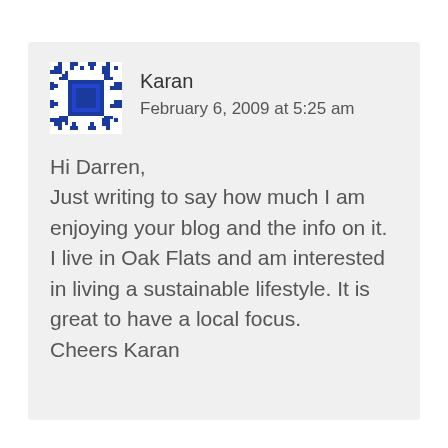[Figure (illustration): Decorative avatar icon: blue diamond/quilt pattern with central blue square, surrounded by repeating cross/star motif in blue on white background]
Karan
February 6, 2009 at 5:25 am
Hi Darren,
Just writing to say how much I am enjoying your blog and the info on it. I live in Oak Flats and am interested in living a sustainable lifestyle. It is great to have a local focus.
Cheers Karan